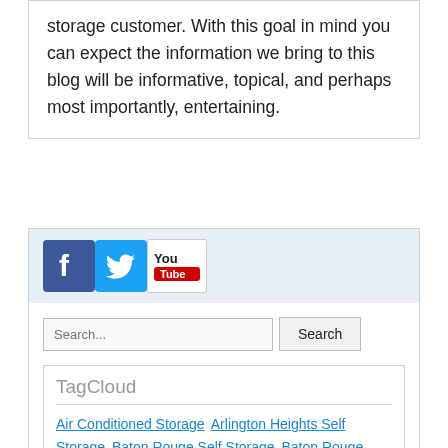storage customer. With this goal in mind you can expect the information we bring to this blog will be informative, topical, and perhaps most importantly, entertaining.
[Figure (other): Social media icons: Facebook (blue), Twitter (light blue bird), YouTube (red and white)]
Search... [Search button]
TagCloud
Air Conditioned Storage
Arlington Heights Self Storage
Baton Rouge Self Storage
Baton Rouge Storage
Baton Rouge Storage Units
Beverly
Boat Storage
Bronx NY Self Storage
Bronx Storage Units
Brooklyn NY
Brooklyn NY Self Storage
Brooklyn Self Storage
Brooklyn Storage
Business Storage
Chicago